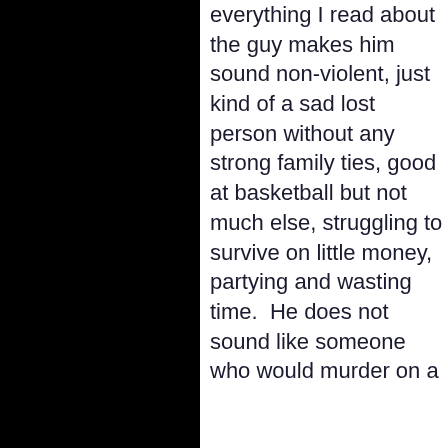everything I read about the guy makes him sound non-violent, just kind of a sad lost person without any strong family ties, good at basketball but not much else, struggling to survive on little money, partying and wasting time.  He does not sound like someone who would murder on a